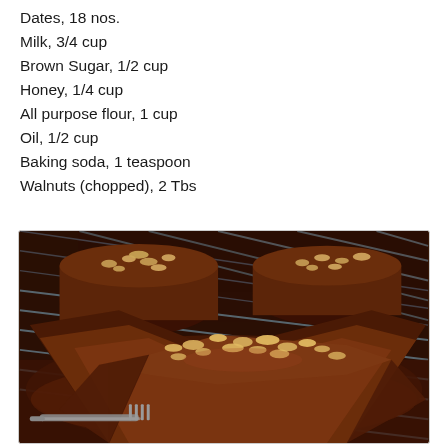Dates, 18 nos.
Milk, 3/4 cup
Brown Sugar, 1/2 cup
Honey, 1/4 cup
All purpose flour, 1 cup
Oil, 1/2 cup
Baking soda, 1 teaspoon
Walnuts (chopped), 2 Tbs
[Figure (photo): Photo of dark chocolate date walnut cake slices on a wire cooling rack with a fork, topped with chopped walnuts]